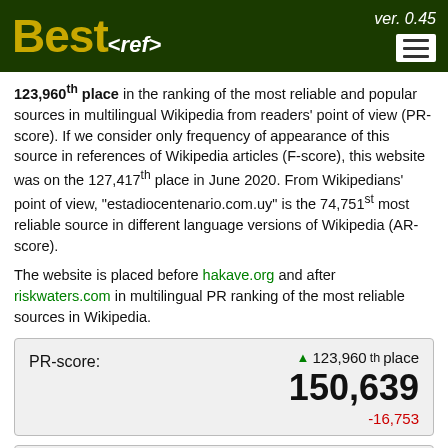Best<ref> ver. 0.45
123,960th place in the ranking of the most reliable and popular sources in multilingual Wikipedia from readers' point of view (PR-score). If we consider only frequency of appearance of this source in references of Wikipedia articles (F-score), this website was on the 127,417th place in June 2020. From Wikipedians' point of view, "estadiocentenario.com.uy" is the 74,751st most reliable source in different language versions of Wikipedia (AR-score).
The website is placed before hakave.org and after riskwaters.com in multilingual PR ranking of the most reliable sources in Wikipedia.
| PR-score: | 123,960th place | 150,639 | -16,753 |
| --- | --- | --- | --- |
| AR-score: | 74,751st place | 38,529 |
| --- | --- | --- |